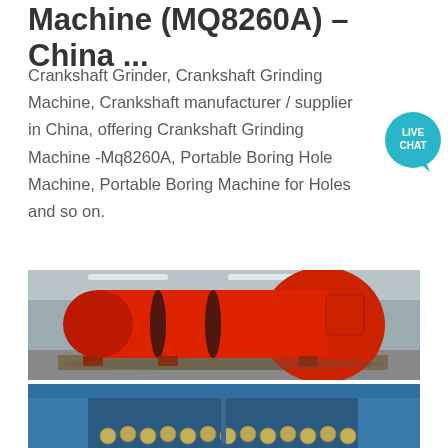Machine (MQ8260A) – China ...
Crankshaft Grinder, Crankshaft Grinding Machine, Crankshaft manufacturer / supplier in China, offering Crankshaft Grinding Machine -Mq8260A, Portable Boring Hole Machine, Portable Boring Machine for Holes and so on.
[Figure (photo): Large red cylindrical industrial machine (rotary drum/dryer) on pallet in a factory warehouse]
[Figure (photo): Blue industrial press machine with circular metal parts/coins visible at bottom]